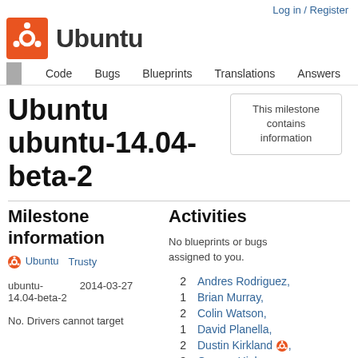Log in / Register
Ubuntu
Code  Bugs  Blueprints  Translations  Answers
Ubuntu ubuntu-14.04-beta-2
This milestone contains information
Milestone information
Activities
Ubuntu  Trusty
ubuntu-14.04-beta-2  2014-03-27
No blueprints or bugs assigned to you.
No. Drivers cannot target
2  Andres Rodriguez,
1  Brian Murray,
2  Colin Watson,
1  David Planella,
2  Dustin Kirkland,
3  Gunnar Hjalmarsson,